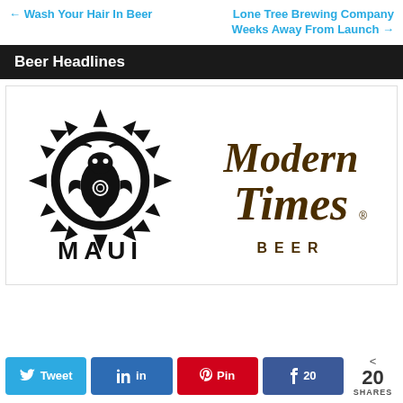← Wash Your Hair In Beer
Lone Tree Brewing Company Weeks Away From Launch →
Beer Headlines
[Figure (logo): Two beer brand logos side by side: Maui Brewing Company tribal/geometric black logo on the left with MAUI text below, and Modern Times Beer cursive script logo in brown/gold on the right with BEER text below.]
20 SHARES